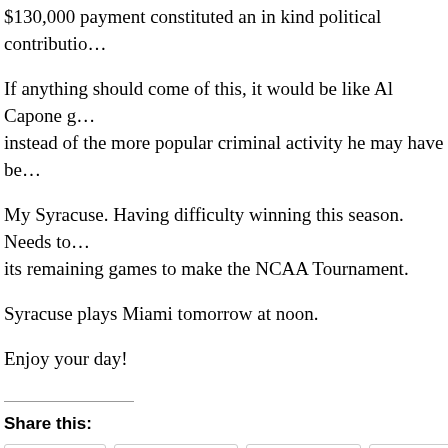$130,000 payment constituted an in kind political contributio...
If anything should come of this, it would be like Al Capone g... instead of the more popular criminal activity he may have be...
My Syracuse. Having difficulty winning this season. Needs to... its remaining games to make the NCAA Tournament.
Syracuse plays Miami tomorrow at noon.
Enjoy your day!
Share this:
Twitter | Facebook | LinkedIn | Tumblr | Pinterest
Posted in Key West Lou | Tagged "Women, ABC News, Aqua, Bataan Death March, Bataan Re... Facebook, Filipinos, Guns, Irma and Me, Key West, Key West Lou, Key West Lou Blog Talk...